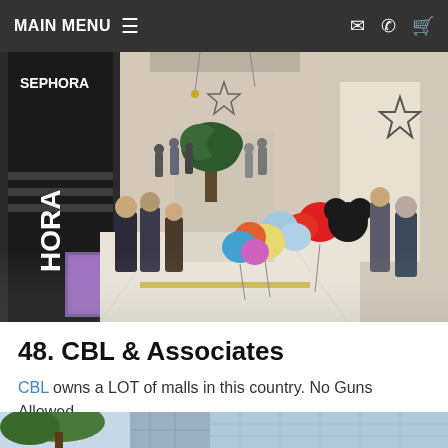MAIN MENU
[Figure (photo): Interior of a busy shopping mall with people walking, holiday star decorations, balloon vendor, and retail stores including HORA visible on left side.]
48. CBL & Associates
CBL owns a LOT of malls in this country. No Guns Allowed.
[Figure (photo): Exterior of a shopping mall building with trees in foreground and large glass facade.]